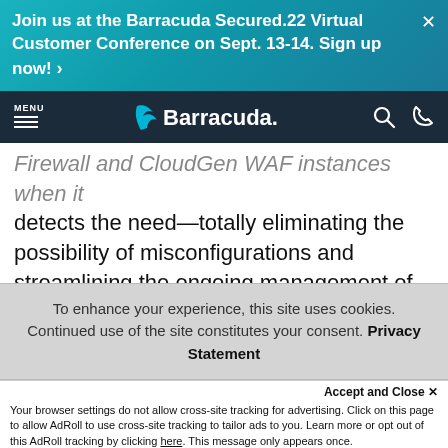Join us at the Barracuda Secured.22 Virtual Customer Conference on Sept. 13-14. Sign up now! ›
[Figure (logo): Barracuda logo in white on dark navy navigation bar with MENU hamburger, search and phone icons]
Firewall and CloudGen WAF instances when it detects the need—totally eliminating the possibility of misconfigurations and streamlining the ongoing management of these solutions.
Cloud Security Guardian is also able to configure and manage the Azure Firewall-as-a-Service – in fact, you are presented with both options whenever Cloud Security Guardian detects the need to deploy a
To enhance your experience, this site uses cookies. Continued use of the site constitutes your consent. Privacy Statement
Accept and Close ✕
Your browser settings do not allow cross-site tracking for advertising. Click on this page to allow AdRoll to use cross-site tracking to tailor ads to you. Learn more or opt out of this AdRoll tracking by clicking here. This message only appears once.